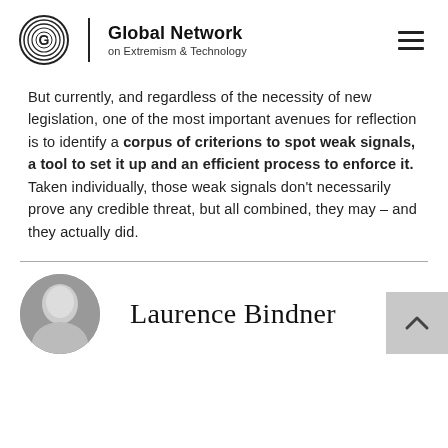Global Network on Extremism & Technology
But currently, and regardless of the necessity of new legislation, one of the most important avenues for reflection is to identify a corpus of criterions to spot weak signals, a tool to set it up and an efficient process to enforce it. Taken individually, those weak signals don't necessarily prove any credible threat, but all combined, they may – and they actually did.
[Figure (photo): Black and white headshot photo of Laurence Bindner]
Laurence Bindner